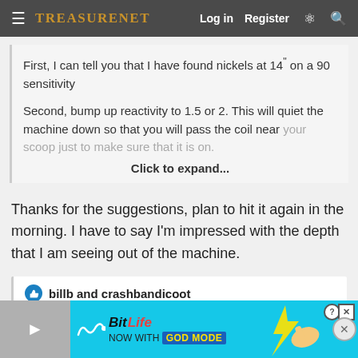TreasureNet — Log in   Register
First, I can tell you that I have found nickels at 14" on a 90 sensitivity

Second, bump up reactivity to 1.5 or 2. This will quiet the machine down so that you will pass the coil near your scoop just to make sure that it is on.
Click to expand...
Thanks for the suggestions, plan to hit it again in the morning. I have to say I'm impressed with the depth that I am seeing out of the machine.
billb and crashbandicoot
[Figure (screenshot): BitLife advertisement banner: NOW WITH GOD MODE, with hand pointing graphic on cyan background]